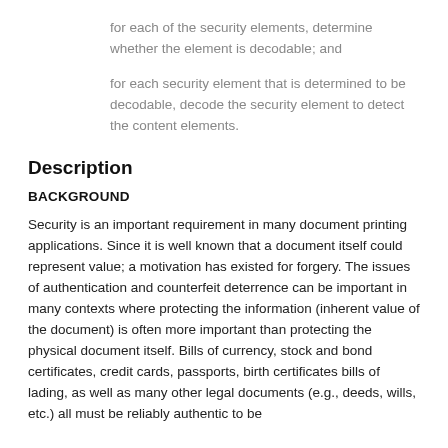for each of the security elements, determine whether the element is decodable; and
for each security element that is determined to be decodable, decode the security element to detect the content elements.
Description
BACKGROUND
Security is an important requirement in many document printing applications. Since it is well known that a document itself could represent value; a motivation has existed for forgery. The issues of authentication and counterfeit deterrence can be important in many contexts where protecting the information (inherent value of the document) is often more important than protecting the physical document itself. Bills of currency, stock and bond certificates, credit cards, passports, birth certificates bills of lading, as well as many other legal documents (e.g., deeds, wills, etc.) all must be reliably authentic to be